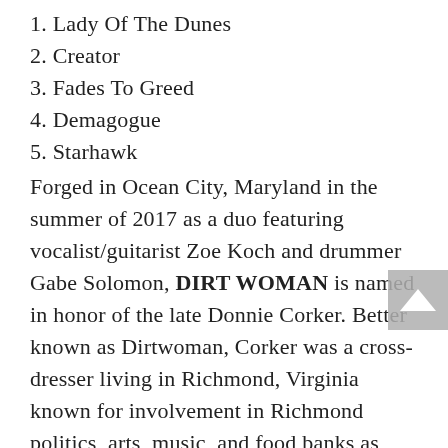1. Lady Of The Dunes
2. Creator
3. Fades To Greed
4. Demagogue
5. Starhawk
Forged in Ocean City, Maryland in the summer of 2017 as a duo featuring vocalist/guitarist Zoe Koch and drummer Gabe Solomon, DIRT WOMAN is named in honor of the late Donnie Corker. Better known as Dirtwoman, Corker was a cross-dresser living in Richmond, Virginia known for involvement in Richmond politics, arts, music, and food banks as well as being the human floral arrangement of the annual Hamaganza holiday rock 'n' roll charity benefit show that, for twenty-years had paired Dirtwoman with a